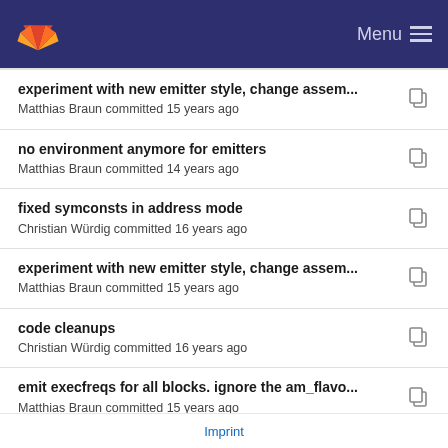GitLab Menu
experiment with new emitter style, change assem...
Matthias Braun committed 15 years ago
no environment anymore for emitters
Matthias Braun committed 14 years ago
fixed symconsts in address mode
Christian Würdig committed 16 years ago
experiment with new emitter style, change assem...
Matthias Braun committed 15 years ago
code cleanups
Christian Würdig committed 16 years ago
emit execfreqs for all blocks. ignore the am_flavo...
Matthias Braun committed 15 years ago
no environment anymore for emitters
Matthias Braun committed 14 years ago
Imprint